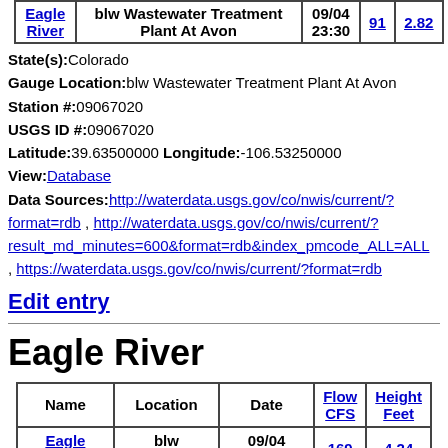| Name | Location | Date | Flow CFS | Height Feet |
| --- | --- | --- | --- | --- |
| Eagle River | blw Wastewater Treatment Plant At Avon | 09/04 23:30 | 91 | 2.82 |
State(s):Colorado
Gauge Location:blw Wastewater Treatment Plant At Avon
Station #:09067020
USGS ID #:09067020
Latitude:39.63500000 Longitude:-106.53250000
View:Database
Data Sources:http://waterdata.usgs.gov/co/nwis/current/?format=rdb , http://waterdata.usgs.gov/co/nwis/current/?result_md_minutes=600&format=rdb&index_pmcode_ALL=ALL , https://waterdata.usgs.gov/co/nwis/current/?format=rdb
Edit entry
Eagle River
| Name | Location | Date | Flow CFS | Height Feet |
| --- | --- | --- | --- | --- |
| Eagle River | blw Gypsum | 09/04 23:15 | 169 | 4.24 |
State(s):Colorado